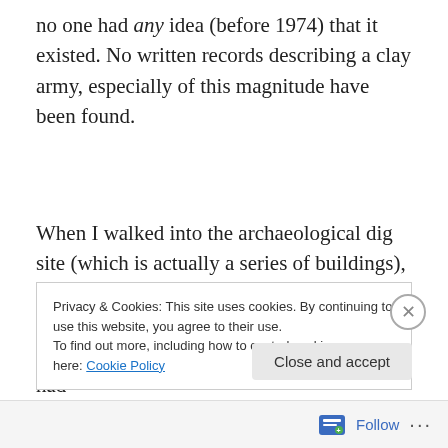no one had any idea (before 1974) that it existed. No written records describing a clay army, especially of this magnitude have been found.
When I walked into the archaeological dig site (which is actually a series of buildings), it was bigger and more amazing than I had imagined. It was extremely crowded, even on a weekday, but it was truly spectacular. I had
Privacy & Cookies: This site uses cookies. By continuing to use this website, you agree to their use.
To find out more, including how to control cookies, see here: Cookie Policy
Close and accept
Follow